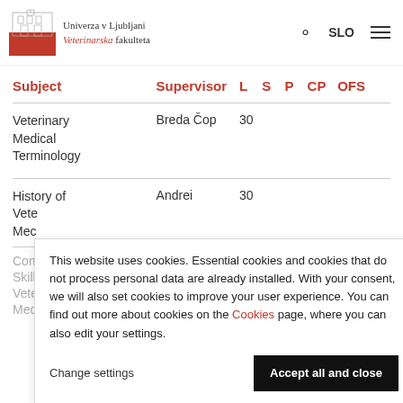[Figure (logo): Univerza v Ljubljani Veterinarska fakulteta logo with building illustration and red block]
Univerza v Ljubljani Veterinarska fakulteta — SLO
| Subject | Supervisor | L | S | P | CP | OFS |
| --- | --- | --- | --- | --- | --- | --- |
| Veterinary Medical Terminology | Breda Čop | 30 |  |  |  |  |
| History of Veterinary Medicine | Andrei | 30 |  |  |  |  |
| Communication Skills |  |  |  |  |  |  |
| Veterinary Medicine |  |  |  |  |  |  |
This website uses cookies. Essential cookies and cookies that do not process personal data are already installed. With your consent, we will also set cookies to improve your user experience. You can find out more about cookies on the Cookies page, where you can also edit your settings.
Change settings
Accept all and close